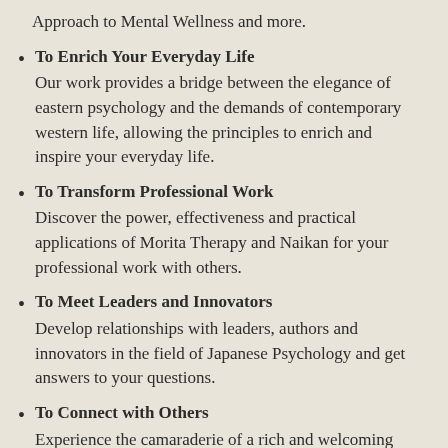Approach to Mental Wellness and more.
To Enrich Your Everyday Life
Our work provides a bridge between the elegance of eastern psychology and the demands of contemporary western life, allowing the principles to enrich and inspire your everyday life.
To Transform Professional Work
Discover the power, effectiveness and practical applications of Morita Therapy and Naikan for your professional work with others.
To Meet Leaders and Innovators
Develop relationships with leaders, authors and innovators in the field of Japanese Psychology and get answers to your questions.
To Connect with Others
Experience the camaraderie of a rich and welcoming community and develop meaningful